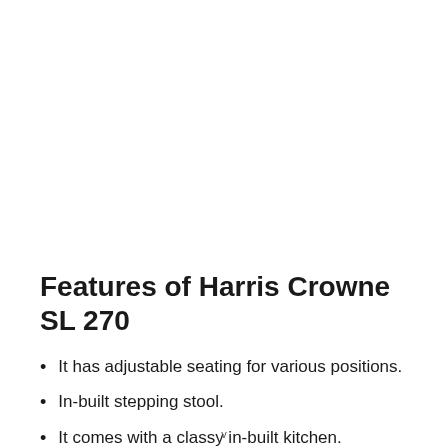Features of Harris Crowne SL 270
It has adjustable seating for various positions.
In-built stepping stool.
It comes with a classy in-built kitchen.
v